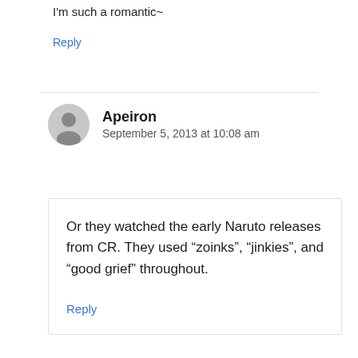I'm such a romantic~
Reply
Apeiron
September 5, 2013 at 10:08 am
Or they watched the early Naruto releases from CR. They used “zoinks”, “jinkies”, and “good grief” throughout.
Reply